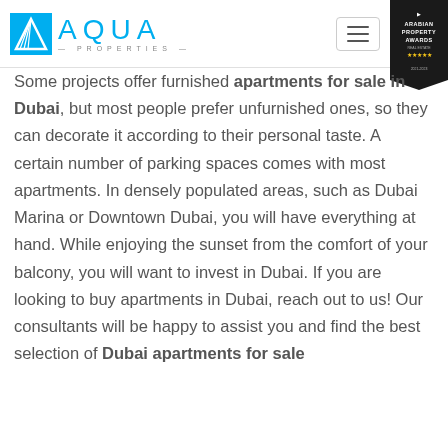AQUA PROPERTIES
Some projects offer furnished apartments for sale in Dubai, but most people prefer unfurnished ones, so they can decorate it according to their personal taste. A certain number of parking spaces comes with most apartments. In densely populated areas, such as Dubai Marina or Downtown Dubai, you will have everything at hand. While enjoying the sunset from the comfort of your balcony, you will want to invest in Dubai. If you are looking to buy apartments in Dubai, reach out to us! Our consultants will be happy to assist you and find the best selection of Dubai apartments for sale